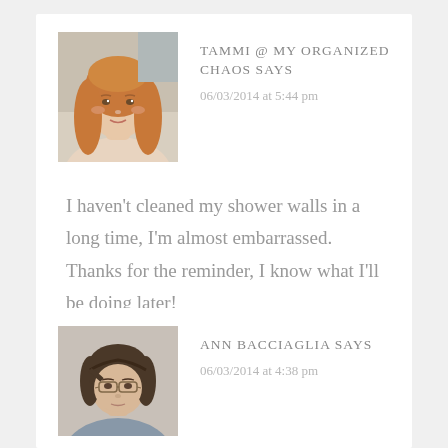[Figure (photo): Profile photo of a young woman with long reddish-blonde hair]
TAMMI @ MY ORGANIZED CHAOS SAYS
06/03/2014 at 5:44 pm
I haven't cleaned my shower walls in a long time, I'm almost embarrassed. Thanks for the reminder, I know what I'll be doing later!
[Figure (photo): Profile photo of a middle-aged woman with short dark hair and glasses]
ANN BACCIAGLIA SAYS
06/03/2014 at 4:38 pm